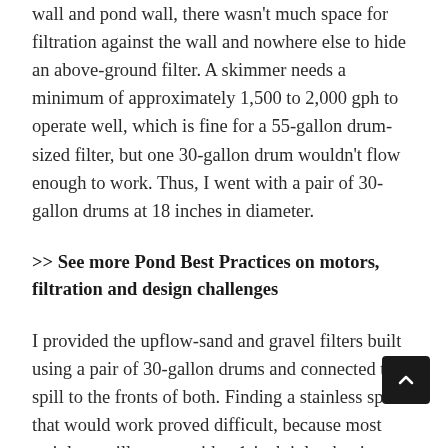wall and pond wall, there wasn't much space for filtration against the wall and nowhere else to hide an above-ground filter. A skimmer needs a minimum of approximately 1,500 to 2,000 gph to operate well, which is fine for a 55-gallon drum-sized filter, but one 30-gallon drum wouldn't flow enough to work. Thus, I went with a pair of 30-gallon drums at 18 inches in diameter.
>> See more Pond Best Practices on motors, filtration and design challenges
I provided the upflow-sand and gravel filters built using a pair of 30-gallon drums and connected the spill to the fronts of both. Finding a stainless spill that would work proved difficult, because most stainless spills come with a 1-inch inlet that is too restrictive for a gravity-flow system. The client ended up ordering a spill that I modified by blocking the 1-inch